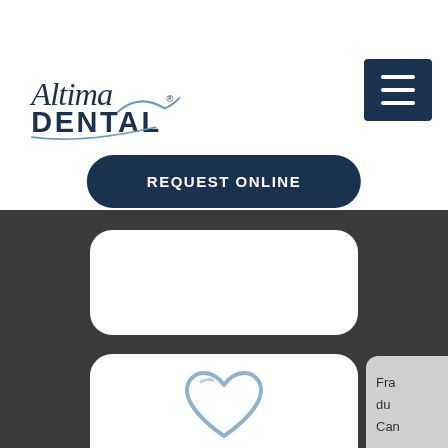[Figure (logo): Altima Dental logo — cursive 'Altima' text above block 'DENTAL' with a swoosh/checkmark accent and registered trademark symbol]
[Figure (other): Dark navy blue hamburger menu icon (three horizontal bars) on a dark navy square button]
REQUEST ONLINE
[Figure (illustration): Light blue outline heart icon]
We're Gentle
Fra
du
Can